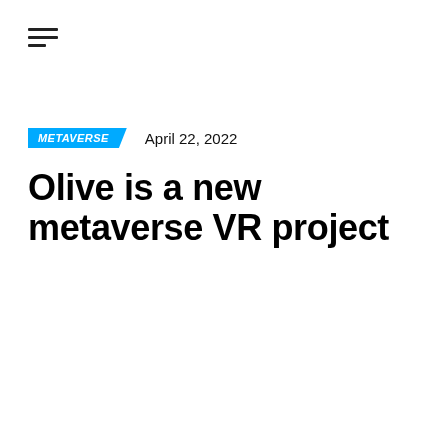[Figure (other): Hamburger menu icon with three horizontal lines, the bottom line shorter than the top two]
METAVERSE   April 22, 2022
Olive is a new metaverse VR project